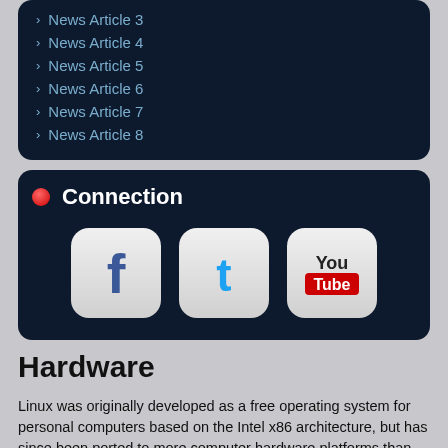News Article 3
News Article 4
News Article 5
News Article 6
News Article 7
News Article 8
Connection
[Figure (illustration): Social media icons for Facebook, Twitter, and YouTube displayed as rounded square buttons]
Hardware
Linux was originally developed as a free operating system for personal computers based on the Intel x86 architecture, but has since been ported to more computer hardware platforms than any other operating system. Thanks to its dominance on smartphones,